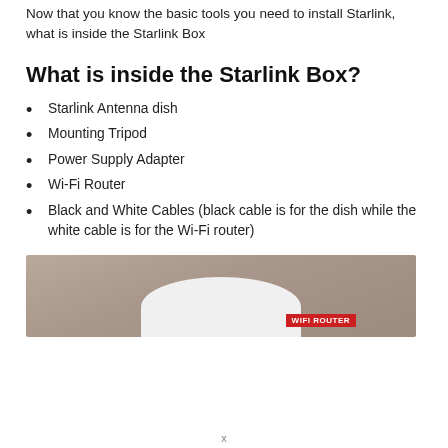Now that you know the basic tools you need to install Starlink, what is inside the Starlink Box
What is inside the Starlink Box?
Starlink Antenna dish
Mounting Tripod
Power Supply Adapter
Wi-Fi Router
Black and White Cables (black cable is for the dish while the white cable is for the Wi-Fi router)
[Figure (photo): Photo showing a Starlink dish (white, rounded) partially visible at the bottom center, with a brown/tan background and a red label reading 'WIFI ROUTER' in the lower right area.]
x